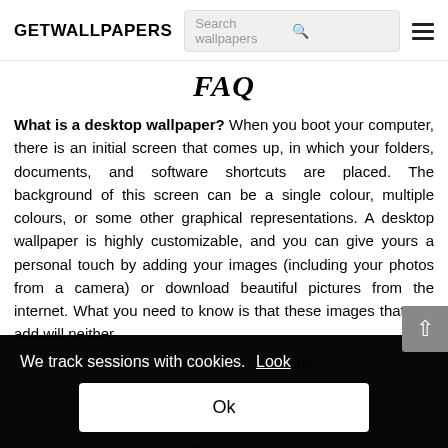GETWALLPAPERS  Search wallpapers  ☰
FAQ
What is a desktop wallpaper? When you boot your computer, there is an initial screen that comes up, in which your folders, documents, and software shortcuts are placed. The background of this screen can be a single colour, multiple colours, or some other graphical representations. A desktop wallpaper is highly customizable, and you can give yours a personal touch by adding your images (including your photos from a camera) or download beautiful pictures from the internet. What you need to know is that these images that you add will neither ...nputer. ...Well, addi... ...y. In fact... ...ll move on as usual. However, this element comes with a sense of
We track sessions with cookies. Look
Ok